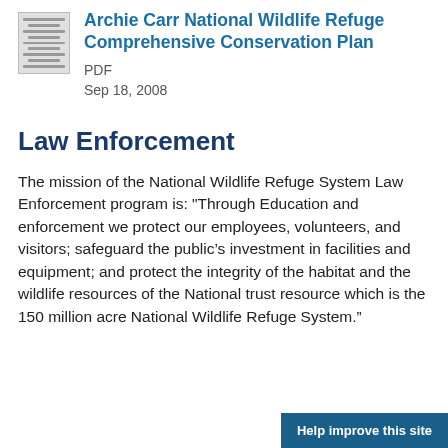[Figure (other): Thumbnail image of a document with stacked lines representing text pages]
Archie Carr National Wildlife Refuge Comprehensive Conservation Plan
PDF
Sep 18, 2008
Law Enforcement
The mission of the National Wildlife Refuge System Law Enforcement program is: "Through Education and enforcement we protect our employees, volunteers, and visitors; safeguard the public’s investment in facilities and equipment; and protect the integrity of the habitat and the wildlife resources of the National trust resource which is the 150 million acre National Wildlife Refuge System.”